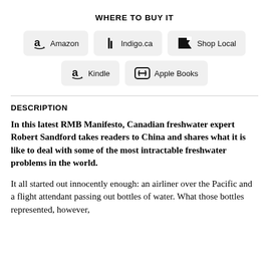WHERE TO BUY IT
[Figure (other): Buy buttons row 1: Amazon, Indigo.ca, Shop Local]
[Figure (other): Buy buttons row 2: Kindle, Apple Books]
DESCRIPTION
In this latest RMB Manifesto, Canadian freshwater expert Robert Sandford takes readers to China and shares what it is like to deal with some of the most intractable freshwater problems in the world.
It all started out innocently enough: an airliner over the Pacific and a flight attendant passing out bottles of water. What those bottles represented, however,